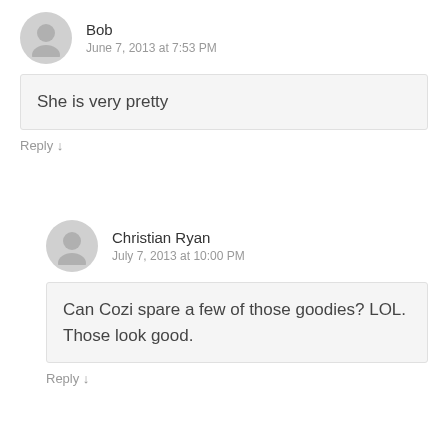Bob
June 7, 2013 at 7:53 PM
She is very pretty
Reply ↓
Christian Ryan
July 7, 2013 at 10:00 PM
Can Cozi spare a few of those goodies? LOL. Those look good.
Reply ↓